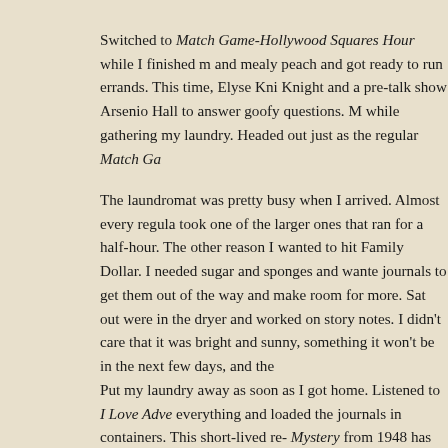Switched to Match Game-Hollywood Squares Hour while I finished m and mealy peach and got ready to run errands. This time, Elyse Kni Knight and a pre-talk show Arsenio Hall to answer goofy questions. while gathering my laundry. Headed out just as the regular Match Ga
The laundromat was pretty busy when I arrived. Almost every regul took one of the larger ones that ran for a half-hour. The other reason I wanted to hit Family Dollar. I needed sugar and sponges and wante journals to get them out of the way and make room for more. Sat ou were in the dryer and worked on story notes. I didn't care that it was bright and sunny, something it won't be in the next few days, and the
Put my laundry away as soon as I got home. Listened to I Love Adve everything and loaded the journals in containers. This short-lived re- Mystery from 1948 has Jack, and later Reggie, working for the myste London in cases of international intrigue. The first has Jack retrieving second brings Reggie back in to help stop airmail thieves. Both seer cross the pulp nuttiness of Mystery with more typical James Bond-es an awkward mix, especially when Jack is on his own in the first story Mystery, the entire run of the series does exist.)
Watched Some Burg and I Tet did while this